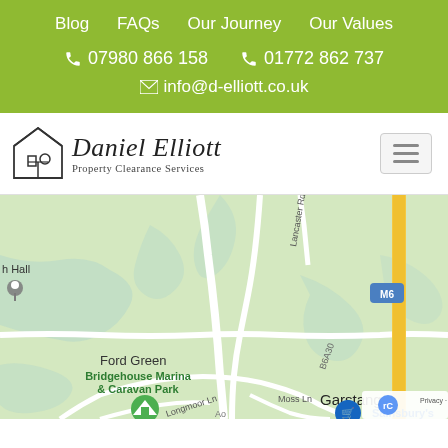Blog  FAQs  Our Journey  Our Values
📞 07980 866 158   📞 01772 862 737   ✉ info@d-elliott.co.uk
[Figure (logo): Daniel Elliott Property Clearance Services logo with house icon]
[Figure (map): Google Maps screenshot showing Garstang area with Ford Green, Cabus, Bridgehouse Marina & Caravan Park, Sainsbury's, M6 motorway, Lancaster Rd and B6430 roads visible]